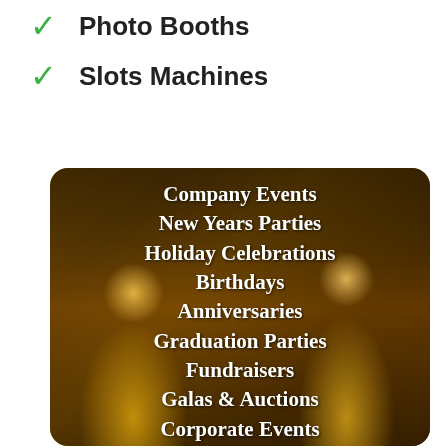✓ Photo Booths
✓ Slots Machines
[Figure (photo): Two smiling people with a festive golden bokeh background overlaid with white bold text listing event types: Company Events, New Years Parties, Holiday Celebrations, Birthdays, Anniversaries, Graduation Parties, Fundraisers, Galas & Auctions, Corporate Events, Poker Nights]